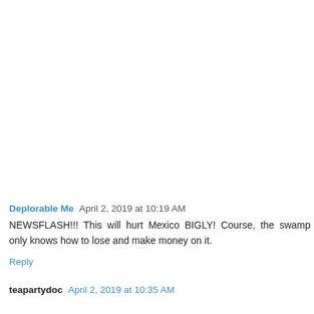Deplorable Me  April 2, 2019 at 10:19 AM
NEWSFLASH!!! This will hurt Mexico BIGLY! Course, the swamp only knows how to lose and make money on it.
Reply
teapartydoc  April 2, 2019 at 10:35 AM